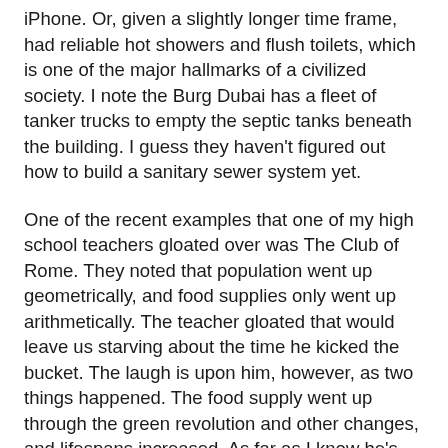iPhone. Or, given a slightly longer time frame, had reliable hot showers and flush toilets, which is one of the major hallmarks of a civilized society. I note the Burg Dubai has a fleet of tanker trucks to empty the septic tanks beneath the building. I guess they haven't figured out how to build a sanitary sewer system yet.
One of the recent examples that one of my high school teachers gloated over was The Club of Rome. They noted that population went up geometrically, and food supplies only went up arithmetically. The teacher gloated that would leave us starving about the time he kicked the bucket. The laugh is upon him, however, as two things happened. The food supply went up through the green revolution and other changes, and lifespans increased. As far as I know he's still around, probably being a pain in the ass to his children and grand children, if any.
That's the thing. Throughout all of history there has been a persistent "Doom is upon us" school of writing. Generally the "solutions" proposed are to make things worse for people here and now as a sign of devotion to god. Which is idiotic,